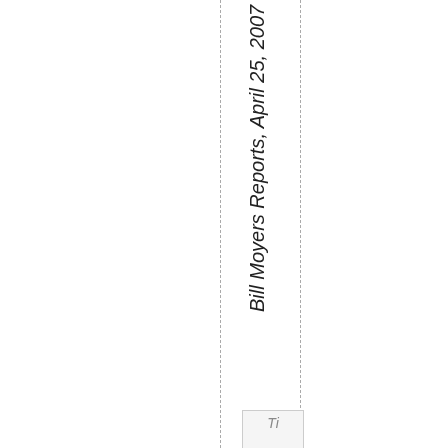Bill Moyers Reports, April 25, 2007
Ti